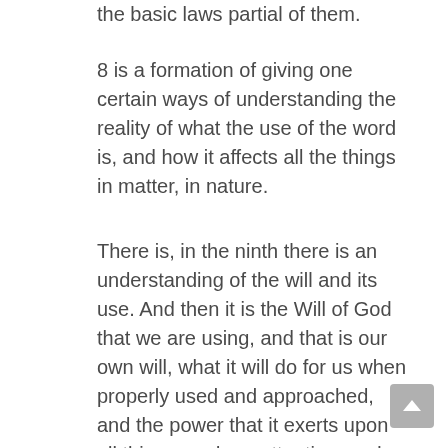the basic laws partial of them.
8 is a formation of giving one certain ways of understanding the reality of what the use of the word is, and how it affects all the things in matter, in nature.
There is, in the ninth there is an understanding of the will and its use. And then it is the Will of God that we are using, and that is our own will, what it will do for us when properly used and approached, and the power that it exerts upon all things, and our attention, and how our attention to things does bring about a